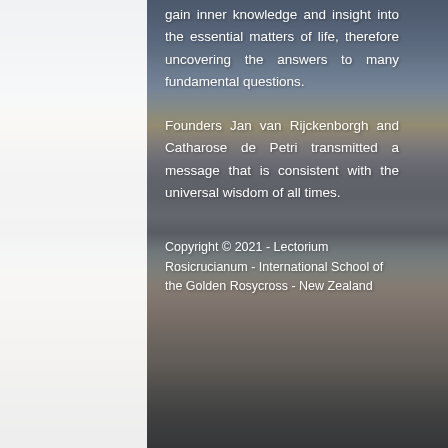[Figure (photo): Background photo of a beach scene at sunset/dusk with dramatic clouds, ocean waves, sandy beach, and sky with warm orange and blue tones. A white strip appears on the left side of the page.]
gain inner knowledge and insight into the essential matters of life, therefore uncovering the answers to many fundamental questions.
Founders Jan van Rijckenborgh and Catharose de Petri transmitted a message that is consistent with the universal wisdom of all times.
Copyright © 2021 - Lectorium Rosicrucianum - International School of the Golden Rosycross - New Zealand